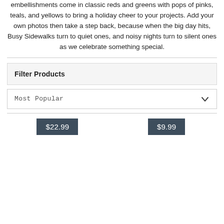embellishments come in classic reds and greens with pops of pinks, teals, and yellows to bring a holiday cheer to your projects. Add your own photos then take a step back, because when the big day hits, Busy Sidewalks turn to quiet ones, and noisy nights turn to silent ones as we celebrate something special.
Filter Products
Most Popular
[Figure (other): Product price badge showing $22.99 on dark slate background]
[Figure (other): Product price badge showing $9.99 on dark slate background]